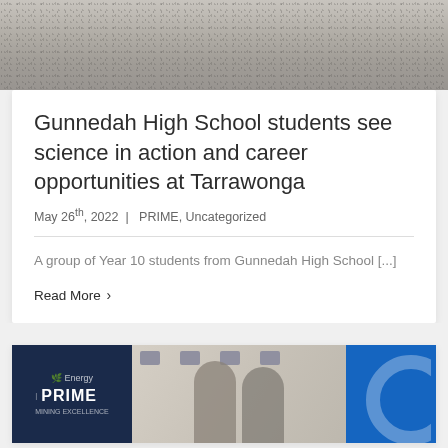[Figure (photo): Top portion of an image showing sand or gravel texture, gray-beige tones]
Gunnedah High School students see science in action and career opportunities at Tarrawonga
May 26th, 2022 | PRIME, Uncategorized
A group of Year 10 students from Gunnedah High School [...]
Read More >
[Figure (photo): Bottom partial image showing three panels: left dark blue panel with PRIME logo, center panel with people standing in front of branded backdrop with repeated logos, right panel with blue background and partial circular logo]